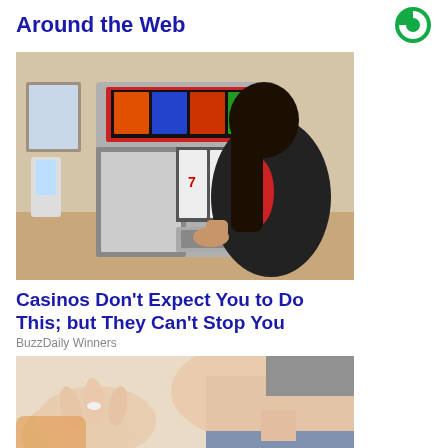Around the Web
[Figure (photo): Person in black and red jacket working on an open slot machine]
Casinos Don't Expect You to Do This; but They Can't Stop You
BuzzDaily Winners
[Figure (photo): Person holding something small, close-up shot, blurred background]